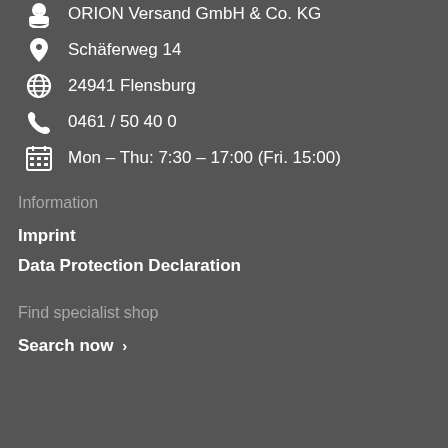ORION Versand GmbH & Co. KG
Schäferweg 14
24941 Flensburg
0461 / 50 40 0
Mon – Thu: 7:30 – 17:00 (Fri. 15:00)
Information
Imprint
Data Protection Declaration
Find specialist shop
Search now